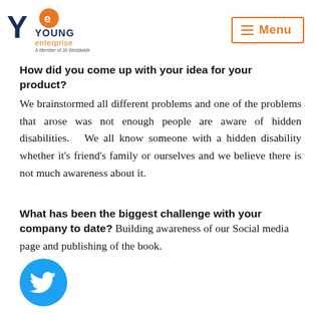[Figure (logo): Young Enterprise Northern Ireland logo with orange 'ye' globe icon and YE mark]
Menu
How did you come up with your idea for your product?
We brainstormed all different problems and one of the problems that arose was not enough people are aware of hidden disabilities.   We all know someone with a hidden disability whether it's friend's family or ourselves and we believe there is not much awareness about it.
What has been the biggest challenge with your company to date?
Building awareness of our Social media page and publishing of the book.
[Figure (logo): Twitter bird logo icon in blue circle]
What would you say has been the most important thing you have learned about business so far?